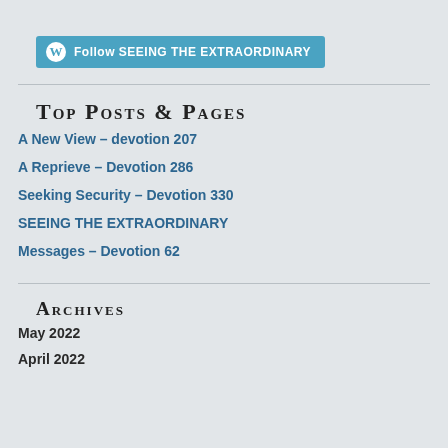Follow SEEING THE EXTRAORDINARY
Top Posts & Pages
A New View – devotion 207
A Reprieve – Devotion 286
Seeking Security – Devotion 330
SEEING THE EXTRAORDINARY
Messages – Devotion 62
Archives
May 2022
April 2022